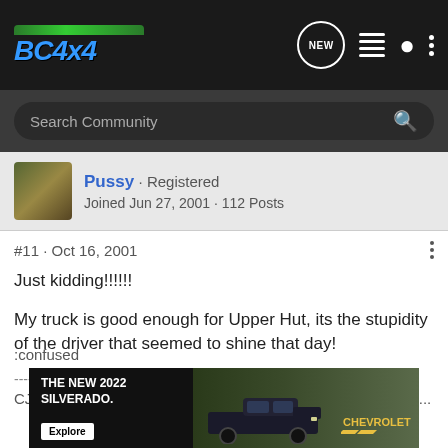BC4x4
Search Community
Pussy · Registered
Joined Jun 27, 2001 · 112 Posts
#11 · Oct 16, 2001
Just kidding!!!!!!

My truck is good enough for Upper Hut, its the stupidity of the driver that seemed to shine that day!
------------------
CJ-5 Foolinjected 350, Lifted, Locked, 8274, Yada yada yada...
:confused
[Figure (photo): Chevrolet Silverado 2022 advertisement banner showing a dark pickup truck in a forest setting with text THE NEW 2022 SILVERADO, Explore button, and Chevrolet logo]